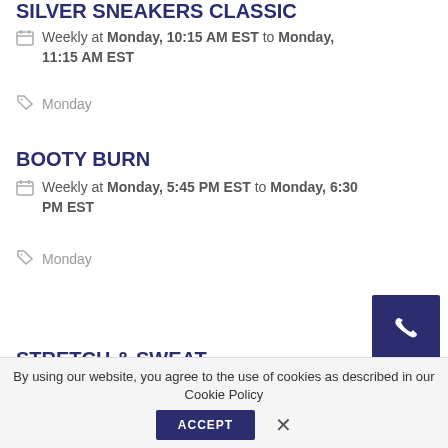SILVER SNEAKERS CLASSIC (partial)
Weekly at Monday, 10:15 AM EST to Monday, 11:15 AM EST
Monday
BOOTY BURN
Weekly at Monday, 5:45 PM EST to Monday, 6:30 PM EST
Monday
STRETCH & SWEAT
Weekly at Monday, 6:30 PM EST to Monday, 7:30 EST
By using our website, you agree to the use of cookies as described in our Cookie Policy
ACCEPT